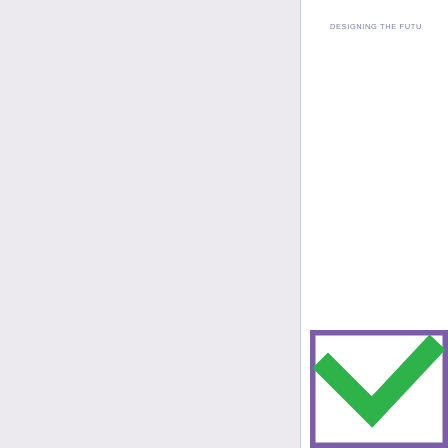DESIGNING THE FUTU
[Figure (illustration): A checkbox icon with a purple/violet square border and a green checkmark inside, partially cropped at the right and bottom edges of the page.]